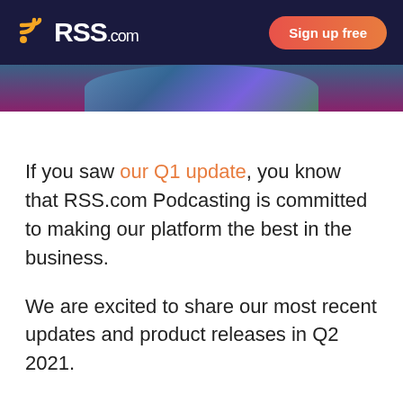RSS.com | Sign up free
[Figure (photo): Partial hero image strip showing tops of people's heads, appears to be a cropped photograph with blue and purple tones]
If you saw our Q1 update, you know that RSS.com Podcasting is committed to making our platform the best in the business.
We are excited to share our most recent updates and product releases in Q2 2021.
April 2021